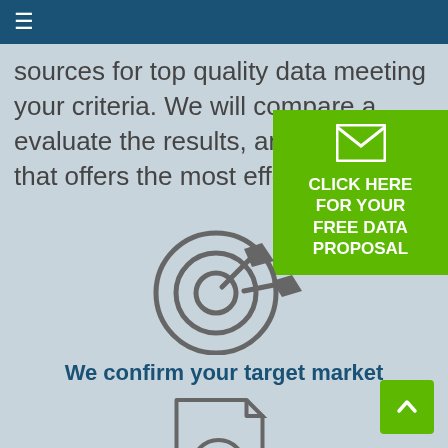≡
sources for top quality data meeting your criteria. We will compare a evaluate the results, and select that offers the most effective so
[Figure (infographic): Green CTA box with envelope icon and text: CLICK HERE FOR YOUR FREE DATA PROPOSAL]
[Figure (illustration): Target/bullseye icon with arrow hitting center]
We confirm your target market
[Figure (illustration): Document with analytics/chart icon and magnifying glass]